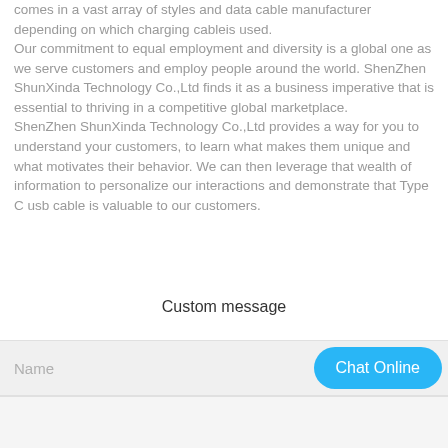comes in a vast array of styles and data cable manufacturer depending on which charging cableis used. Our commitment to equal employment and diversity is a global one as we serve customers and employ people around the world. ShenZhen ShunXinda Technology Co.,Ltd finds it as a business imperative that is essential to thriving in a competitive global marketplace. ShenZhen ShunXinda Technology Co.,Ltd provides a way for you to understand your customers, to learn what makes them unique and what motivates their behavior. We can then leverage that wealth of information to personalize our interactions and demonstrate that Type C usb cable is valuable to our customers.
Custom message
Name
Chat Online